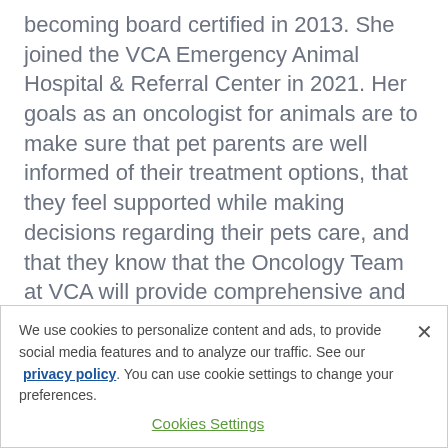becoming board certified in 2013. She joined the VCA Emergency Animal Hospital & Referral Center in 2021. Her goals as an oncologist for animals are to make sure that pet parents are well informed of their treatment options, that they feel supported while making decisions regarding their pets care, and that they know that the Oncology Team at VCA will provide comprehensive and compassionate care for their pet.

Outside of the hospital, she enjoys camping,
We use cookies to personalize content and ads, to provide social media features and to analyze our traffic. See our privacy policy. You can use cookie settings to change your preferences.
Cookies Settings